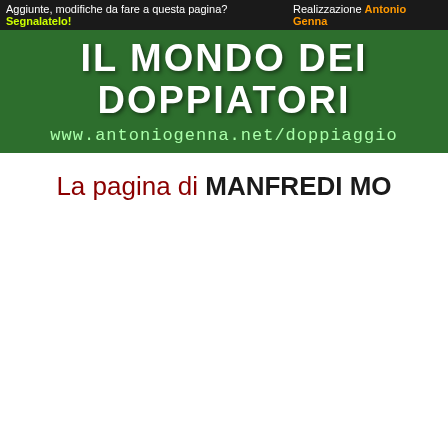Aggiunte, modifiche da fare a questa pagina? Segnalatelo! Realizzazione Antonio Genna
[Figure (illustration): Green banner with white bold text 'IL MONDO DEI DOPPIATORI' and URL 'www.antoniogenna.net/doppiaggio' in light green monospace font on dark green background]
La pagina di MANFREDI MO